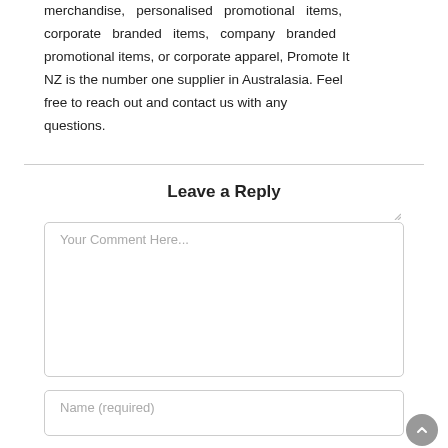merchandise, personalised promotional items, corporate branded items, company branded promotional items, or corporate apparel, Promote It NZ is the number one supplier in Australasia. Feel free to reach out and contact us with any questions.
Leave a Reply
Your Comment Here...
Name (required)